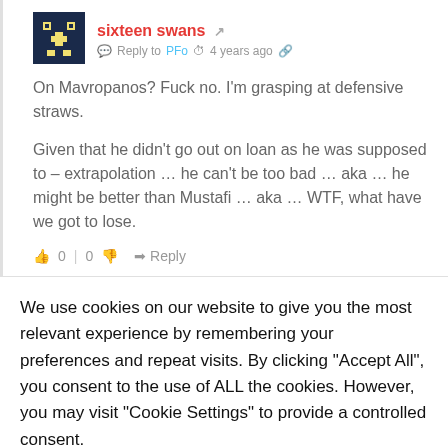[Figure (illustration): User avatar: dark navy blue background with yellow/tan pixel art robot face design]
sixteen swans
Reply to PFo · 4 years ago
On Mavropanos? Fuck no. I'm grasping at defensive straws.

Given that he didn't go out on loan as he was supposed to – extrapolation … he can't be too bad … aka … he might be better than Mustafi … aka … WTF, what have we got to lose.
0 | 0  Reply
We use cookies on our website to give you the most relevant experience by remembering your preferences and repeat visits. By clicking "Accept All", you consent to the use of ALL the cookies. However, you may visit "Cookie Settings" to provide a controlled consent.
Cookie Settings
Accept All